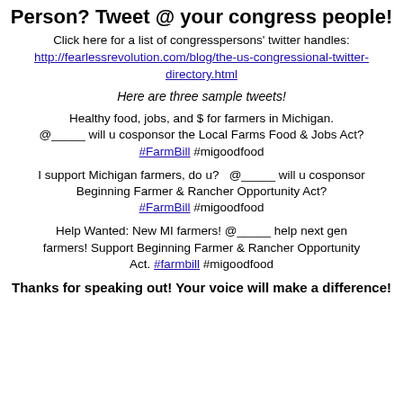Person? Tweet @ your congress people!
Click here for a list of congresspersons' twitter handles: http://fearlessrevolution.com/blog/the-us-congressional-twitter-directory.html
Here are three sample tweets!
Healthy food, jobs, and $ for farmers in Michigan. @_____ will u cosponsor the Local Farms Food & Jobs Act? #FarmBill #migoodfood
I support Michigan farmers, do u?  @_____ will u cosponsor Beginning Farmer & Rancher Opportunity Act? #FarmBill #migoodfood
Help Wanted: New MI farmers! @_____ help next gen farmers! Support Beginning Farmer & Rancher Opportunity Act. #farmbill #migoodfood
Thanks for speaking out! Your voice will make a difference!